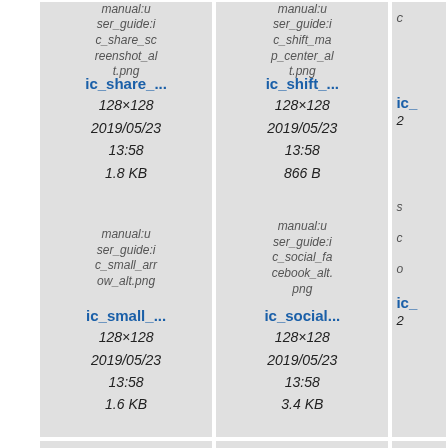[Figure (screenshot): Grid of file thumbnail cards showing icon image files with names, dimensions, dates, and file sizes. Row 1: ic_share_screenshot_alt.png (ic_share_..., 128×128, 2019/05/23 13:58, 1.8 KB), ic_shift_map_center_alt.png (ic_shift_..., 128×128, 2019/05/23 13:58, 866 B), partial third card. Row 2: ic_small_arrow_alt.png (ic_small_..., 128×128, 2019/05/23 13:58, 1.6 KB), ic_social_facebook_alt.png (ic_social_..., 128×128, 2019/05/23 13:58, 3.4 KB), partial third card. Row 3: partial cards showing ic_social_ra... and ic_social_tw...]